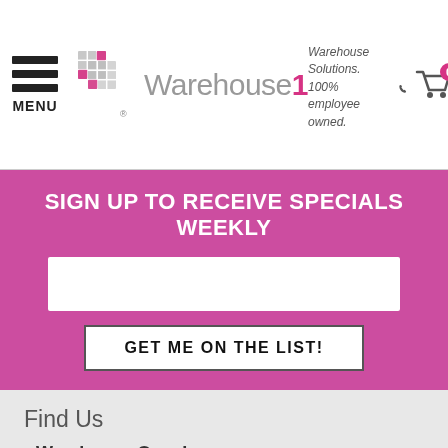[Figure (logo): Warehouse1 logo with grid-like warehouse building icon in grey and pink, registered trademark symbol, and company name 'Warehouse1' in grey]
Warehouse Solutions. 100% employee owned.
SIGN UP TO RECEIVE SPECIALS WEEKLY
[Figure (other): White email input field for newsletter signup]
GET ME ON THE LIST!
Find Us
Warehouse One, Inc.
7800 E. 12th St.
Kansas City, Missouri
64126
Phone: 816.483.6999
Contact Us